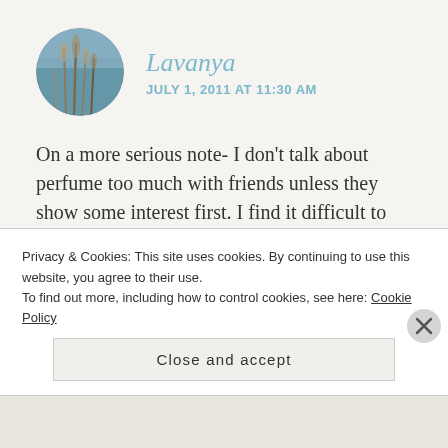[Figure (photo): Circular avatar photo showing a blue/grey background with dried grass or reeds, used as a user profile picture for Lavanya]
Lavanya
JULY 1, 2011 AT 11:30 AM
On a more serious note- I don't talk about perfume too much with friends unless they show some interest first. I find it difficult to open up about something I love- the only problem is, that once I open up, I find it difficult to stop..Family, however, is never spared and I often dab perfumes uninvited on
Privacy & Cookies: This site uses cookies. By continuing to use this website, you agree to their use.
To find out more, including how to control cookies, see here: Cookie Policy
Close and accept